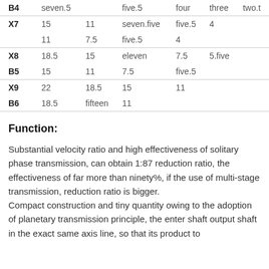|  |  |  |  |  |  |  |
| --- | --- | --- | --- | --- | --- | --- |
| B4 | seven.5 |  | five.5 | four | three | two.t |
| X7 | 15 | 11 | seven.five | five.5 | 4 |  |
|  | 11 | 7.5 | five.5 | 4 |  |  |
| X8 | 18.5 | 15 | eleven | 7.5 | 5.five |  |
| B5 | 15 | 11 | 7.5 | five.5 |  |  |
| X9 | 22 | 18.5 | 15 | 11 |  |  |
| B6 | 18.5 | fifteen | 11 |  |  |  |
Function:
Substantial velocity ratio and high effectiveness of solitary phase transmission, can obtain 1:87 reduction ratio, the effectiveness of far more than ninety%, if the use of multi-stage transmission, reduction ratio is bigger.
Compact construction and tiny quantity owing to the adoption of planetary transmission principle, the enter shaft output shaft in the exact same axis line, so that its product to